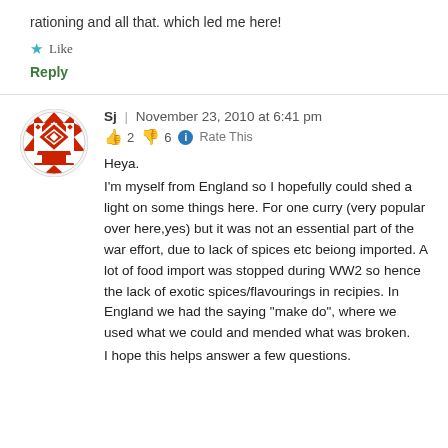rationing and all that. which led me here!
Like
Reply
[Figure (illustration): Red and white geometric patterned circular avatar icon]
Sj | November 23, 2010 at 6:41 pm
👍 2 👎 6 ℹ Rate This
Heya.
I'm myself from England so I hopefully could shed a light on some things here. For one curry (very popular over here,yes) but it was not an essential part of the war effort, due to lack of spices etc beiong imported. A lot of food import was stopped during WW2 so hence the lack of exotic spices/flavourings in recipies. In England we had the saying "make do", where we used what we could and mended what was broken.
I hope this helps answer a few questions.